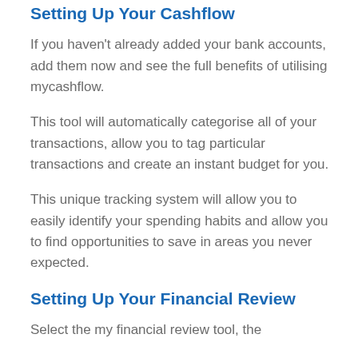Setting Up Your Cashflow
If you haven't already added your bank accounts, add them now and see the full benefits of utilising mycashflow.
This tool will automatically categorise all of your transactions, allow you to tag particular transactions and create an instant budget for you.
This unique tracking system will allow you to easily identify your spending habits and allow you to find opportunities to save in areas you never expected.
Setting Up Your Financial Review
Select the my financial review tool, the